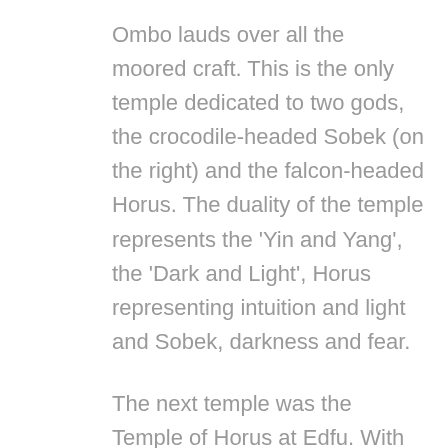Ombo lauds over all the moored craft. This is the only temple dedicated to two gods, the crocodile-headed Sobek (on the right) and the falcon-headed Horus. The duality of the temple represents the 'Yin and Yang', the 'Dark and Light', Horus representing intuition and light and Sobek, darkness and fear.
The next temple was the Temple of Horus at Edfu. With striking lion-head gargoyles at the entrance, this gargantuan and well-preserved temple has beautiful pictorial depictions and inscriptions. Beyond the pylons there are majestic columns